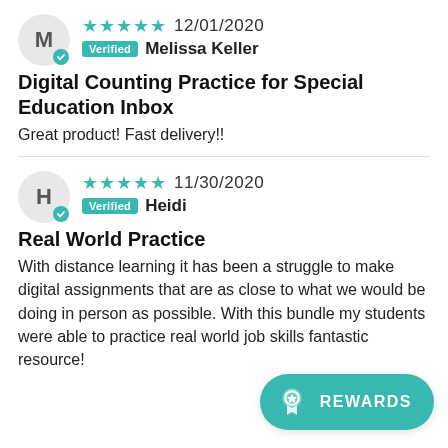[Figure (other): User avatar circle with letter M and teal verified checkmark, 5 teal stars rating, date 12/01/2020, Verified badge, reviewer name Melissa Keller]
Digital Counting Practice for Special Education Inbox
Great product! Fast delivery!!
[Figure (other): User avatar circle with letter H and teal verified checkmark, 5 teal stars rating, date 11/30/2020, Verified badge, reviewer name Heidi]
Real World Practice
With distance learning it has been a struggle to make digital assignments that are as close to what we would be doing in person as possible. With this bundle my students were able to practice real world job skills fantastic resource!
[Figure (other): Teal rounded button with award/ribbon icon and text REWARDS]